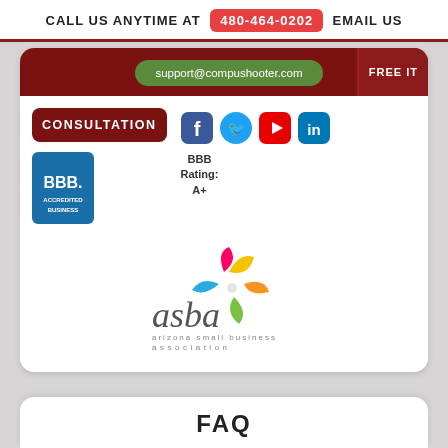CALL US ANYTIME AT 480-464-0202 EMAIL US
support@compushooter.com
FREE IT
CONSULTATION
BBB Rating: A+
[Figure (logo): BBB Accredited Business badge logo]
[Figure (logo): Social media icons: Facebook, Twitter, YouTube, LinkedIn]
[Figure (logo): ASBA - Arizona Small Business Association logo with colorful pinwheel]
FAQ